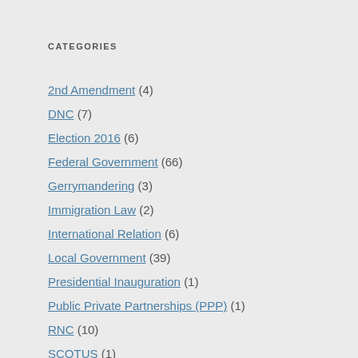CATEGORIES
2nd Amendment (4)
DNC (7)
Election 2016 (6)
Federal Government (66)
Gerrymandering (3)
Immigration Law (2)
International Relation (6)
Local Government (39)
Presidential Inauguration (1)
Public Private Partnerships (PPP) (1)
RNC (10)
SCOTUS (1)
Section 4 (1)
Section 5 (1)
State Government (47)